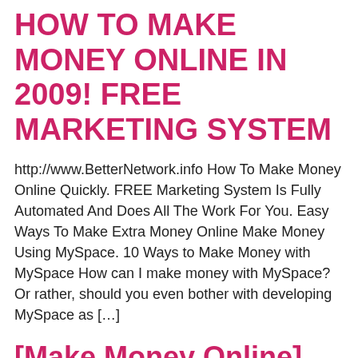HOW TO MAKE MONEY ONLINE IN 2009! FREE MARKETING SYSTEM
http://www.BetterNetwork.info How To Make Money Online Quickly. FREE Marketing System Is Fully Automated And Does All The Work For You. Easy Ways To Make Extra Money Online Make Money Using MySpace. 10 Ways to Make Money with MySpace How can I make money with MySpace? Or rather, should you even bother with developing MySpace as […]
[Make Money Online] "Using YouTube" Web 2.0 Marketing And A Easy Money Making Program